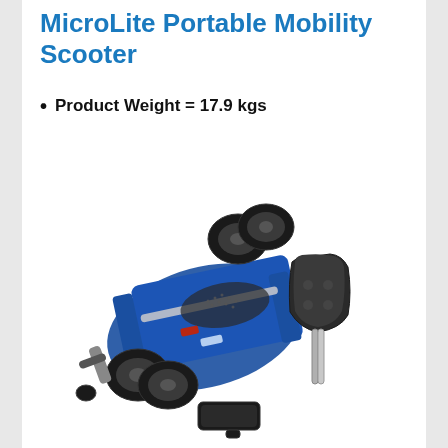MicroLite Portable Mobility Scooter
Product Weight = 17.9 kgs
[Figure (photo): Disassembled MicroLite Portable Mobility Scooter showing the blue chassis with wheels laid flat, a black seat component with metal rod, and a black battery pack]